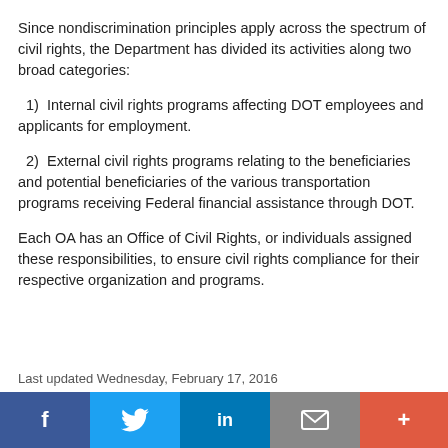Since nondiscrimination principles apply across the spectrum of civil rights, the Department has divided its activities along two broad categories:
1)  Internal civil rights programs affecting DOT employees and applicants for employment.
2)  External civil rights programs relating to the beneficiaries and potential beneficiaries of the various transportation programs receiving Federal financial assistance through DOT.
Each OA has an Office of Civil Rights, or individuals assigned these responsibilities, to ensure civil rights compliance for their respective organization and programs.
Last updated Wednesday, February 17, 2016